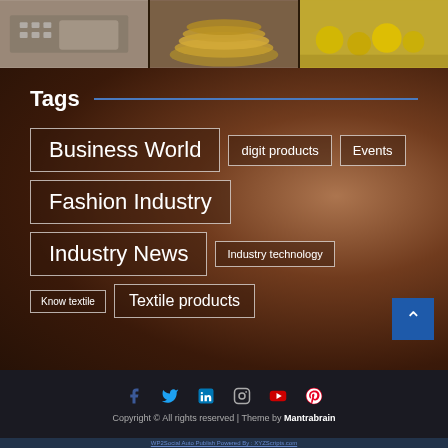[Figure (photo): Three horizontal photos at top: person typing on calculator/keyboard, stacked gold coins, yellow coins/items on surface]
Tags
Business World
digit products
Events
Fashion Industry
Industry News
Industry technology
Know textile
Textile products
[Figure (photo): Background portrait photo of woman with long hair, eyes closed, dark warm tones]
Copyright © All rights reserved | Theme by Mantrabrain
WP2Social Auto Publish Powered By : XYZScripts.com